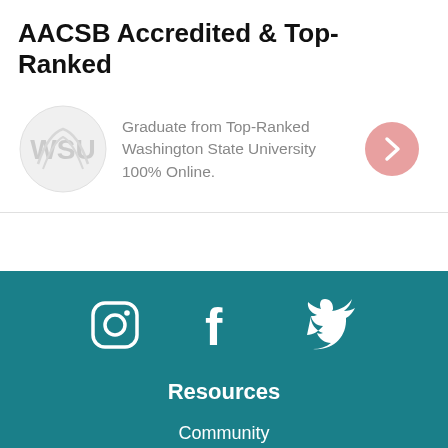AACSB Accredited & Top-Ranked
[Figure (infographic): WSU logo circle on left, text 'Graduate from Top-Ranked Washington State University 100% Online.' in gray, pink arrow circle on right]
[Figure (infographic): Teal footer with Instagram, Facebook, and Twitter icons, Resources heading, Community link]
Resources
Community